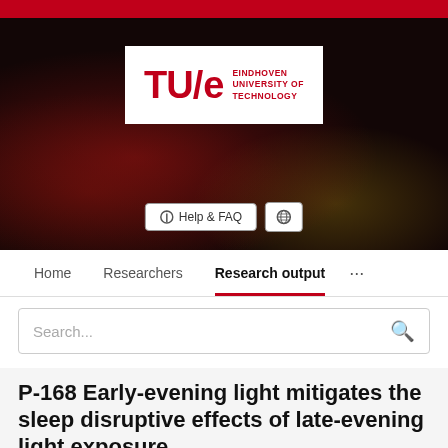[Figure (screenshot): TU/e Eindhoven University of Technology website header with logo on dark background, Help & FAQ button, navigation bar with Home, Researchers, Research output links, search box, and beginning of a research output title.]
TU/e EINDHOVEN UNIVERSITY OF TECHNOLOGY
Help & FAQ
Home   Researchers   Research output   ...
Search...
P-168 Early-evening light mitigates the sleep disruptive effects of late-evening light exposure